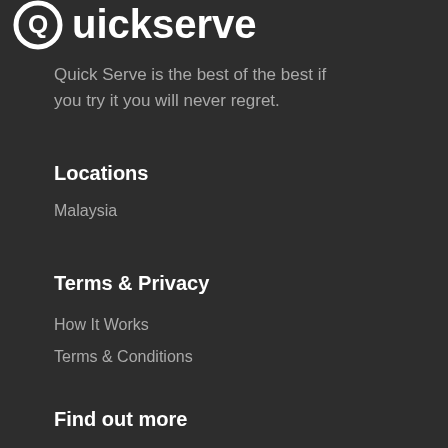[Figure (logo): QuickServe logo — circular icon with 'Quickserve' bold white text on dark background]
Quick Serve is the best of the best if you try it you will never regret.
Locations
Malaysia
Terms & Privacy
How It Works
Terms & Conditions
Find out more